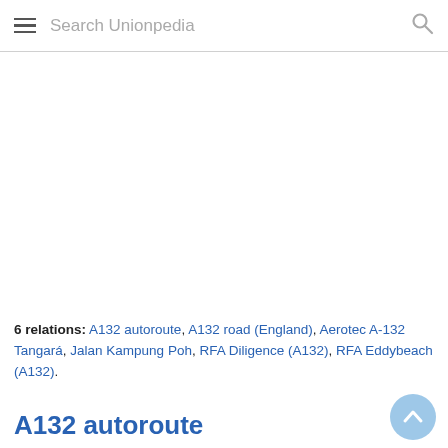Search Unionpedia
6 relations: A132 autoroute, A132 road (England), Aerotec A-132 Tangará, Jalan Kampung Poh, RFA Diligence (A132), RFA Eddybeach (A132).
A132 autoroute
Autoroute 132 links the A13 and Deauville & Trouville-sur-Mer.
New!!: A132 and A132 autoroute · See more »